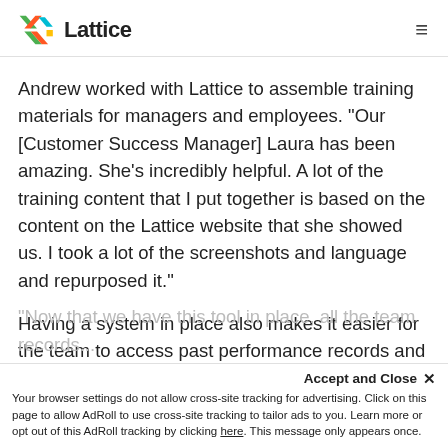Lattice
Andrew worked with Lattice to assemble training materials for managers and employees. “Our [Customer Success Manager] Laura has been amazing. She’s incredibly helpful. A lot of the training content that I put together is based on the content on the Lattice website that she showed us. I took a lot of the screenshots and language and repurposed it.”
Having a system in place also makes it easier for the team to access past performance records and analyze results.
“Now that we have this tool in place, all the team records...
Accept and Close ×
Your browser settings do not allow cross-site tracking for advertising. Click on this page to allow AdRoll to use cross-site tracking to tailor ads to you. Learn more or opt out of this AdRoll tracking by clicking here. This message only appears once.